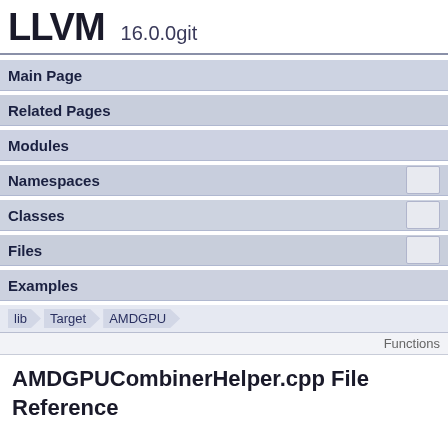LLVM 16.0.0git
Main Page
Related Pages
Modules
Namespaces
Classes
Files
Examples
lib / Target / AMDGPU
Functions
AMDGPUCombinerHelper.cpp File Reference